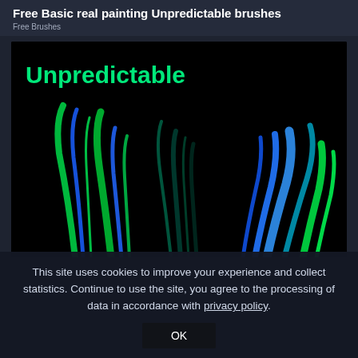Free Basic real painting Unpredictable brushes
Free Brushes
[Figure (illustration): A dark black background with colorful brush strokes resembling tall grass or feathers in blue, green, and teal colors. The word 'Unpredictable' is displayed in bold cyan/green text at the top left of the image.]
This site uses cookies to improve your experience and collect statistics. Continue to use the site, you agree to the processing of data in accordance with privacy policy.
OK